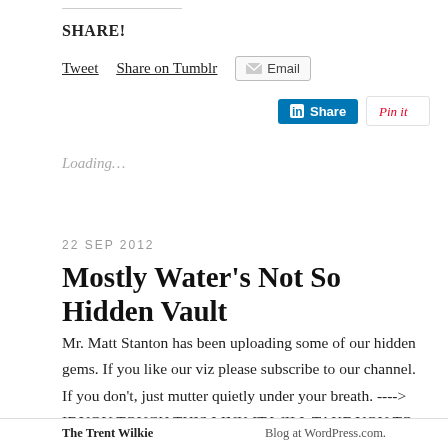SHARE!
Tweet  Share on Tumblr  Email  Share  Pin it
Loading...
22 SEP 2012
Mostly Water’s Not So Hidden Vault
Mr. Matt Stanton has been uploading some of our hidden gems. If you like our viz please subscribe to our channel. If you don’t, just mutter quietly under your breath. ----> IF YOU TOUCH THIS LINK IT WILL TAKE YOU TO OUR YOUTUBE CHANNEL HOLY CRAP! <----
The Trent Wilkie   Blog at WordPress.com.